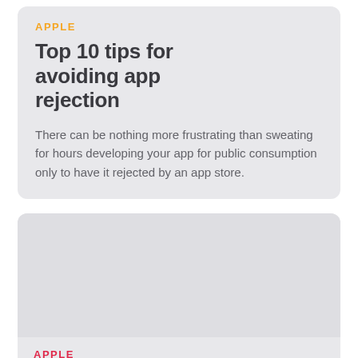APPLE
Top 10 tips for avoiding app rejection
There can be nothing more frustrating than sweating for hours developing your app for public consumption only to have it rejected by an app store.
[Figure (other): Gray image placeholder for second article card]
APPLE
Wearable